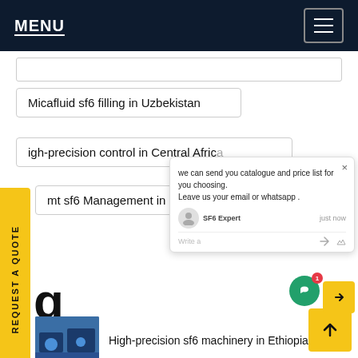MENU
Micafluid sf6 filling in Uzbekistan
igh-precision control in Central Africa
mt sf6 Management in Portugal
[Figure (screenshot): Chat popup with message: we can send you catalogue and price list for you choosing. Leave us your email or whatsapp . SF6 Expert just now. Write a...]
q
[Figure (photo): Thumbnail image of industrial sf6 machinery equipment]
High-precision sf6 machinery in Ethiopia